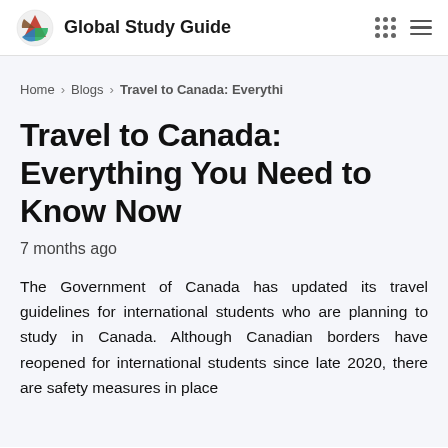Global Study Guide
Home › Blogs › Travel to Canada: Everythi
Travel to Canada: Everything You Need to Know Now
7 months ago
The Government of Canada has updated its travel guidelines for international students who are planning to study in Canada. Although Canadian borders have reopened for international students since late 2020, there are safety measures in place